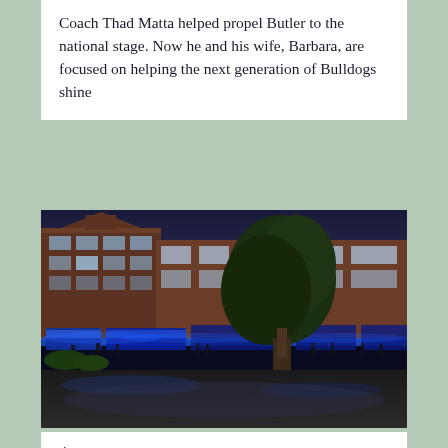Coach Thad Matta helped propel Butler to the national stage. Now he and his wife, Barbara, are focused on helping the next generation of Bulldogs shine
[Figure (photo): Architectural rendering of a building at night with blue accent lighting, a large tree in the foreground, and people walking outside. The building appears to be a multi-story brick structure with illuminated storefronts at street level.]
$1 Million Gift from Butler Graduate to Support New Esports Park